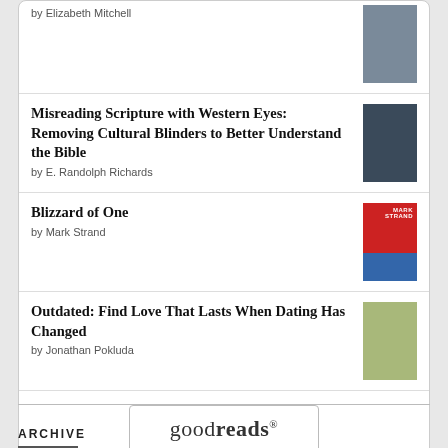by Elizabeth Mitchell
Misreading Scripture with Western Eyes: Removing Cultural Blinders to Better Understand the Bible
by E. Randolph Richards
Blizzard of One
by Mark Strand
Outdated: Find Love That Lasts When Dating Has Changed
by Jonathan Pokluda
[Figure (logo): Goodreads logo button with rounded rectangle border]
ARCHIVE